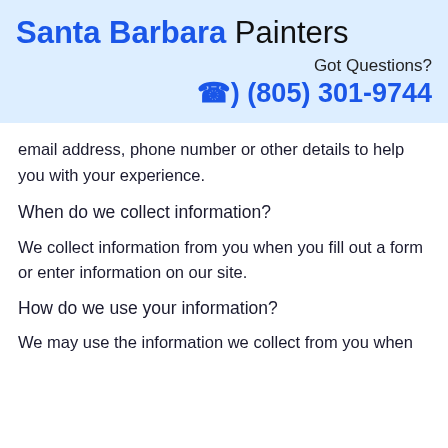Santa Barbara Painters
Got Questions?
☎ (805) 301-9744
email address, phone number or other details to help you with your experience.
When do we collect information?
We collect information from you when you fill out a form or enter information on our site.
How do we use your information?
We may use the information we collect from you when